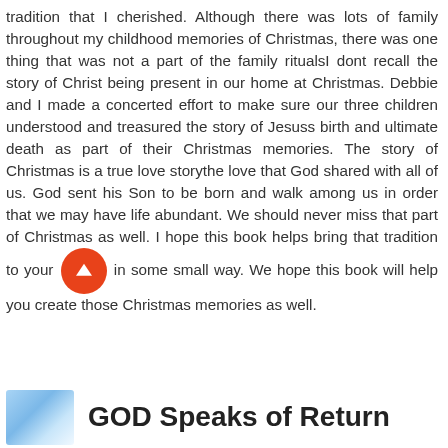tradition that I cherished. Although there was lots of family throughout my childhood memories of Christmas, there was one thing that was not a part of the family ritualsI dont recall the story of Christ being present in our home at Christmas. Debbie and I made a concerted effort to make sure our three children understood and treasured the story of Jesuss birth and ultimate death as part of their Christmas memories. The story of Christmas is a true love storythe love that God shared with all of us. God sent his Son to be born and walk among us in order that we may have life abundant. We should never miss that part of Christmas as well. I hope this book helps bring that tradition to your family in some small way. We hope this book will help you create those Christmas memories as well.
GOD Speaks of Return